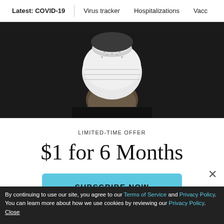Latest: COVID-19  |  Virus tracker  |  Hospitalizations  |  Vacci
[Figure (photo): A person wearing an N95-style mask, dark background, partial face view showing beard and mask.]
Alvin Huang wears one of his “pseudo N95 masks,” which he 3-D printed for healthcare workers during the coronavirus crisis. (Francine ...
LIMITED-TIME OFFER
$1 for 6 Months
SUBSCRIBE NOW
By continuing to use our site, you agree to our Terms of Service and Privacy Policy. You can learn more about how we use cookies by reviewing our Privacy Policy.  Close